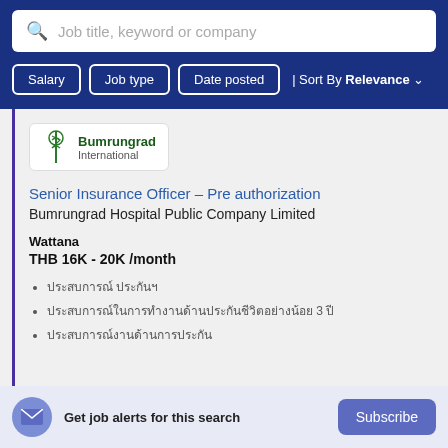Job title, keyword or company
Salary | Job type | Date posted | Sort By Relevance
[Figure (logo): Bumrungrad International logo with green caduceus symbol]
Senior Insurance Officer – Pre authorization
Bumrungrad Hospital Public Company Limited
Wattana
THB 16K - 20K /month
ประสบการณ์ ประกันฯ
ประสบการณ์ในการทำงานด้านประกันชีวิตอย่างน้อย 3 ปี
ประสบการณ์งานด้านการประกัน
Get job alerts for this search
Subscribe